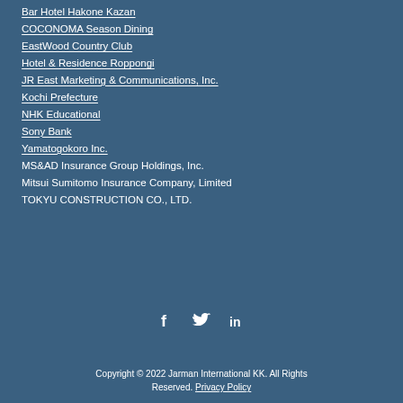Bar Hotel Hakone Kazan
COCONOMA Season Dining
EastWood Country Club
Hotel & Residence Roppongi
JR East Marketing & Communications, Inc.
Kochi Prefecture
NHK Educational
Sony Bank
Yamatogokoro Inc.
MS&AD Insurance Group Holdings, Inc.
Mitsui Sumitomo Insurance Company, Limited
TOKYU CONSTRUCTION CO., LTD.
[Figure (infographic): Social media icons: Facebook (f), Twitter (bird), LinkedIn (in)]
Copyright © 2022 Jarman International KK. All Rights Reserved. Privacy Policy